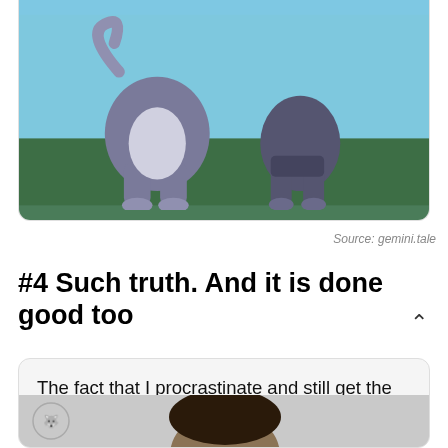[Figure (illustration): Cartoon image (Tom and Jerry style) showing animal characters from behind, with blue background and green floor, cropped so only the lower halves/legs are visible. Image is inside a card with rounded bottom corners.]
Source: gemini.tale
#4 Such truth. And it is done good too
The fact that I procrastinate and still get the job done is the reason I still procrastinate - Gemini Logic
[Figure (photo): A person's photo partially visible at the bottom, cropped showing top of head and upper body. Small wolf/animal logo visible at top left of the card.]